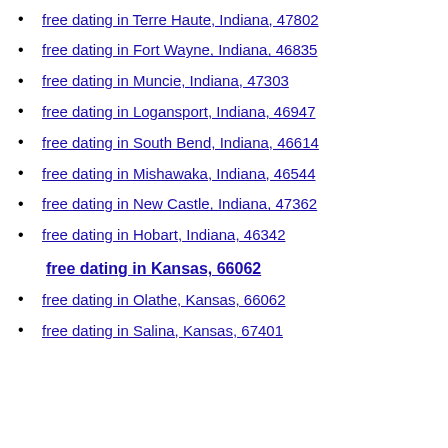free dating in Terre Haute, Indiana, 47802
free dating in Fort Wayne, Indiana, 46835
free dating in Muncie, Indiana, 47303
free dating in Logansport, Indiana, 46947
free dating in South Bend, Indiana, 46614
free dating in Mishawaka, Indiana, 46544
free dating in New Castle, Indiana, 47362
free dating in Hobart, Indiana, 46342
free dating in Kansas, 66062
free dating in Olathe, Kansas, 66062
free dating in Salina, Kansas, 67401